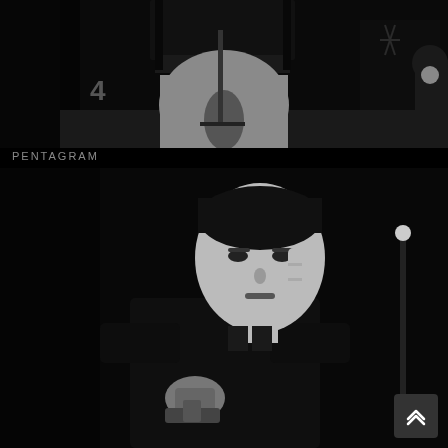[Figure (photo): Black and white concert photo showing lower body of performer in leather jacket and light-colored pants holding a microphone stand, on a dark stage]
PENTAGRAM
[Figure (photo): Black and white photo of a man with slicked back hair wearing a dark jacket, making an obscene gesture with his middle finger while holding something in his other hand, against a dark background]